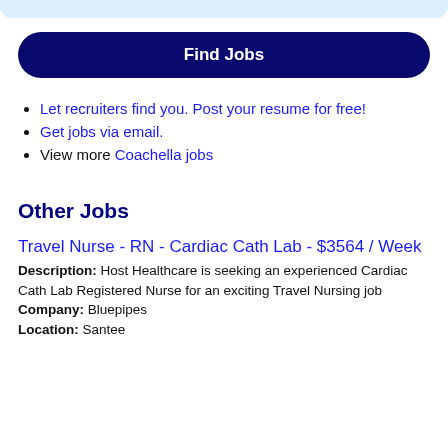[Figure (other): Light blue rounded top bar decorative element]
Find Jobs
Let recruiters find you. Post your resume for free!
Get jobs via email.
View more Coachella jobs
Other Jobs
Travel Nurse - RN - Cardiac Cath Lab - $3564 / Week
Description: Host Healthcare is seeking an experienced Cardiac Cath Lab Registered Nurse for an exciting Travel Nursing job
Company: Bluepipes
Location: Santee